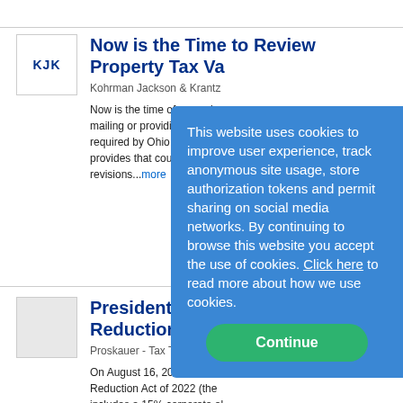Now is the Time to Review Property Tax Va...
Kohrman Jackson & Krantz
Now is the time of year whe... mailing or providing notices... required by Ohio law. Ohio... provides that counties must... revisions...more
President Biden... Reduction Act i...
Proskauer - Tax Talks on 8/...
On August 16, 2022 Preside... Reduction Act of 2022 (the... includes a 15% corporate al... excise tax on stock buyback... of...more
This website uses cookies to improve user experience, track anonymous site usage, store authorization tokens and permit sharing on social media networks. By continuing to browse this website you accept the use of cookies. Click here to read more about how we use cookies.
Continue